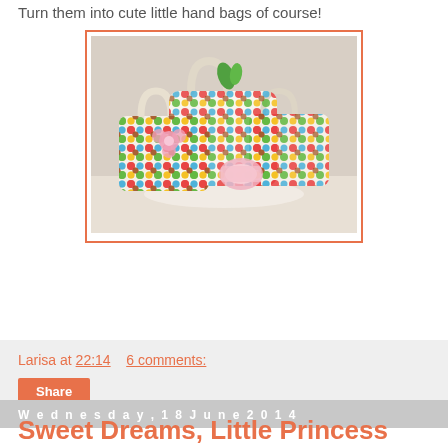Turn them into cute little hand bags of course!
[Figure (photo): Three small colorful polka-dot handbags arranged on a white surface, with pink floral decorations.]
Larisa at 22:14   6 comments:
Share
Wednesday, 18 June 2014
Sweet Dreams, Little Princess
I am making something girly. A take along play set. I am not